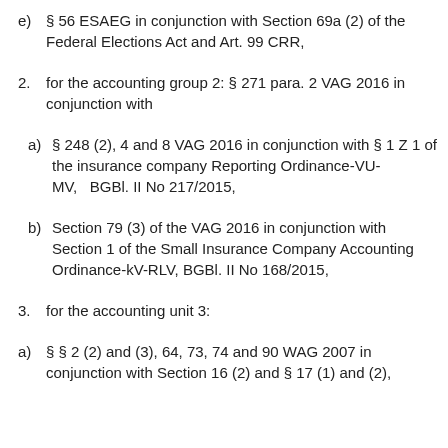e) § 56 ESAEG in conjunction with Section 69a (2) of the Federal Elections Act and Art. 99 CRR,
2. for the accounting group 2: § 271 para. 2 VAG 2016 in conjunction with
a) § 248 (2), 4 and 8 VAG 2016 in conjunction with § 1 Z 1 of the insurance company Reporting Ordinance-VU-MV, BGBl. II No 217/2015,
b) Section 79 (3) of the VAG 2016 in conjunction with Section 1 of the Small Insurance Company Accounting Ordinance-kV-RLV, BGBl. II No 168/2015,
3. for the accounting unit 3:
a) § § 2 (2) and (3), 64, 73, 74 and 90 WAG 2007 in conjunction with Section 16 (2) and § 17 (1) and (2),